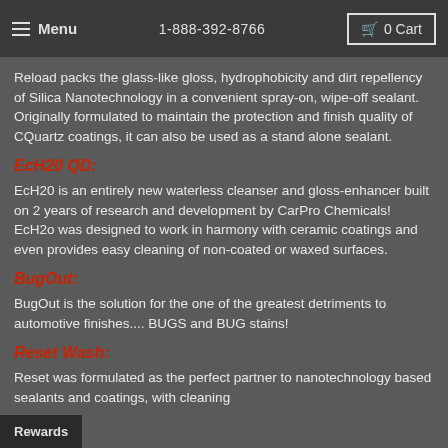Menu  1-888-392-8766  0 Cart
Reload packs the glass-like gloss, hydrophobicity and dirt repellency of Silica Nanotechnology in a convenient spray-on, wipe-off sealant. Originally formulated to maintain the protection and finish quality of CQuartz coatings, it can also be used as a stand alone sealant.
EcH20 QD:
EcH20 is an entirely new waterless cleanser and gloss-enhancer built on 2 years of research and development by CarPro Chemicals! EcH2o was designed to work in harmony with ceramic coatings and even provides easy cleaning of non-coated or waxed surfaces.
BugOut:
BugOut is the solution for the one of the greatest detriments to automotive finishes.... BUGS and BUG stains!
Reset Wash:
Reset was formulated as the perfect partner to nanotechnology based sealants and coatings, with cleaning